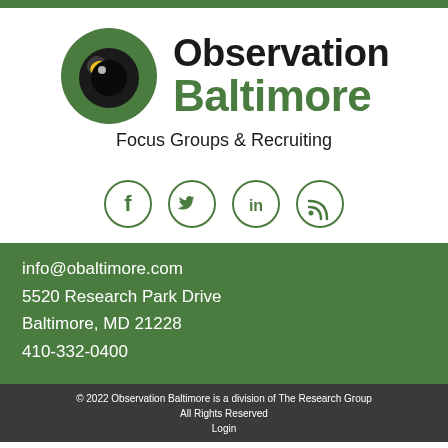[Figure (logo): Observation Baltimore logo: green circle with black pupil and yellow highlight forming an eye, next to text 'Observation' in black and 'Baltimore' in green, with tagline 'Focus Groups & Recruiting']
[Figure (illustration): Four social media icons in green circle outlines: Facebook (f), Twitter (bird), LinkedIn (in), RSS feed]
info@obaltimore.com
5520 Research Park Drive
Baltimore, MD 21228
410-332-0400
© 2022 Observation Baltimore is a division of The Research Group
All Rights Reserved
Login